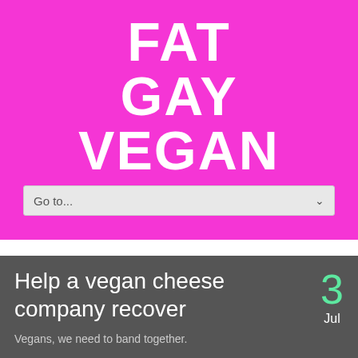[Figure (logo): Fat Gay Vegan website logo on bright pink/magenta background with white bold stacked text reading FAT GAY VEGAN and a navigation dropdown bar below]
Help a vegan cheese company recover
Vegans, we need to band together.